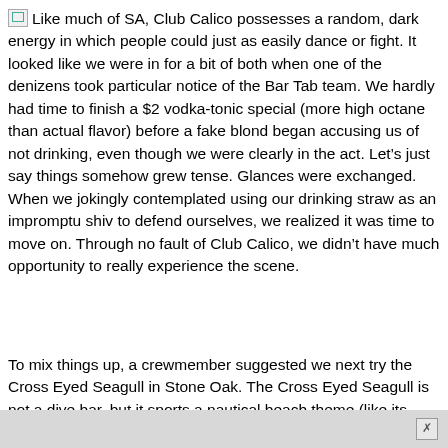Like much of SA, Club Calico possesses a random, dark energy in which people could just as easily dance or fight. It looked like we were in for a bit of both when one of the denizens took particular notice of the Bar Tab team. We hardly had time to finish a $2 vodka-tonic special (more high octane than actual flavor) before a fake blond began accusing us of not drinking, even though we were clearly in the act. Let's just say things somehow grew tense. Glances were exchanged. When we jokingly contemplated using our drinking straw as an impromptu shiv to defend ourselves, we realized it was time to move on. Through no fault of Club Calico, we didn't have much opportunity to really experience the scene.
To mix things up, a crewmember suggested we next try the Cross Eyed Seagull in Stone Oak. The Cross Eyed Seagull is not a dive bar, but it sports a nautical beach theme (like its